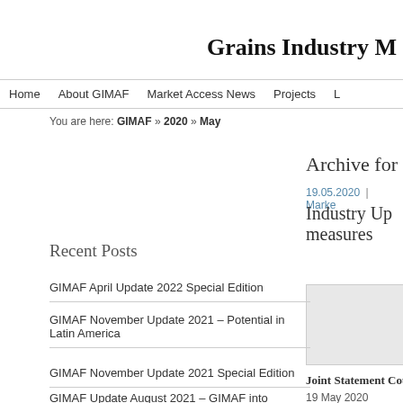Grains Industry M
Home | About GIMAF | Market Access News | Projects | L
You are here: GIMAF » 2020 » May
Archive for M
19.05.2020 | Market
Industry Up... measures
[Figure (photo): Article thumbnail image]
Recent Posts
GIMAF April Update 2022 Special Edition
GIMAF November Update 2021 – Potential in Latin America
GIMAF November Update 2021 Special Edition
GIMAF Update August 2021 – GIMAF into
Joint Statement Council, GrainG
19 May 2020